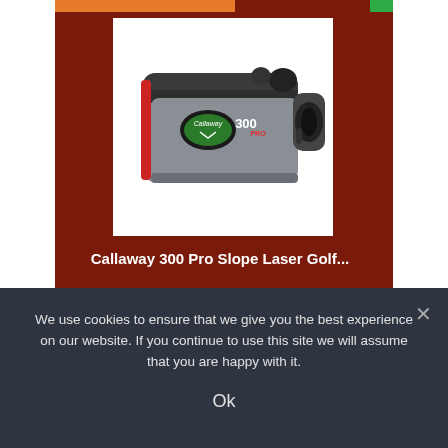[Figure (photo): Callaway 300 Pro slope laser golf rangefinder device, gray and black with red accents and Callaway logo]
Callaway 300 Pro Slope Laser Golf...
4.5 stars, Prime
$299.99  $199.99
We use cookies to ensure that we give you the best experience on our website. If you continue to use this site we will assume that you are happy with it.
Ok